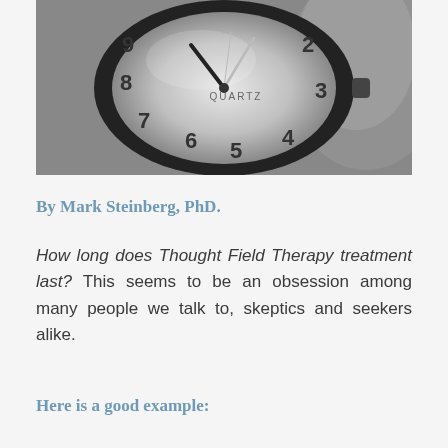[Figure (photo): Close-up black and white photograph of a quartz analog clock face showing numbers and clock hands, with 'QUARTZ' text visible on the dial.]
By Mark Steinberg, PhD.
How long does Thought Field Therapy treatment last? This seems to be an obsession among many people we talk to, skeptics and seekers alike.
Here is a good example: